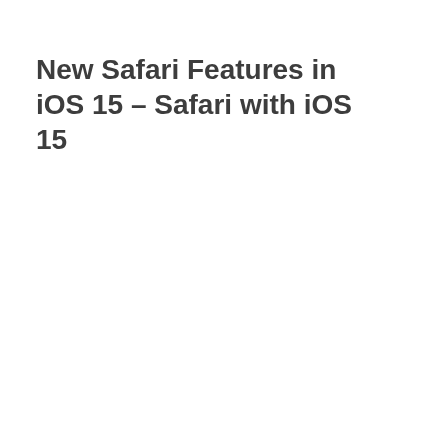New Safari Features in iOS 15 – Safari with iOS 15